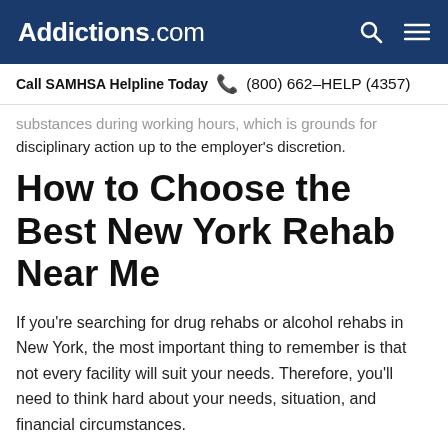Addictions.com
Call SAMHSA Helpline Today  (800) 662-HELP (4357)
substances during working hours, which is grounds for disciplinary action up to the employer's discretion.
How to Choose the Best New York Rehab Near Me
If you're searching for drug rehabs or alcohol rehabs in New York, the most important thing to remember is that not every facility will suit your needs. Therefore, you'll need to think hard about your needs, situation, and financial circumstances.
Here are a few things to consider when browsing